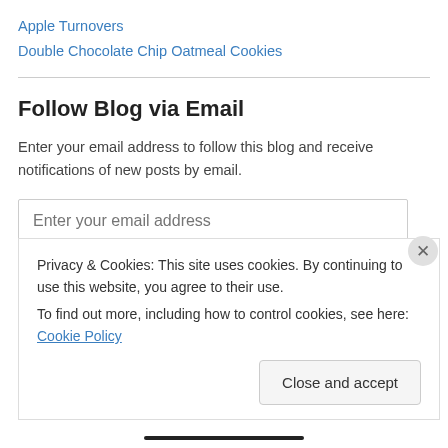Apple Turnovers
Double Chocolate Chip Oatmeal Cookies
Follow Blog via Email
Enter your email address to follow this blog and receive notifications of new posts by email.
Enter your email address
Follow
Privacy & Cookies: This site uses cookies. By continuing to use this website, you agree to their use.
To find out more, including how to control cookies, see here: Cookie Policy
Close and accept